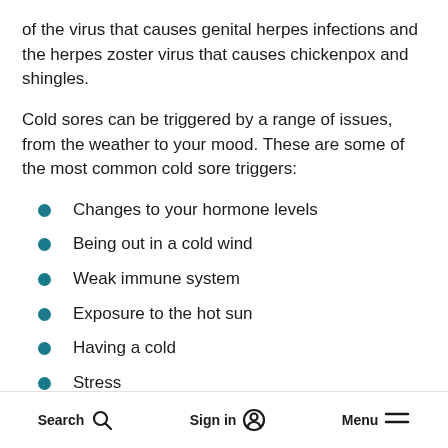of the virus that causes genital herpes infections and the herpes zoster virus that causes chickenpox and shingles.
Cold sores can be triggered by a range of issues, from the weather to your mood. These are some of the most common cold sore triggers:
Changes to your hormone levels
Being out in a cold wind
Weak immune system
Exposure to the hot sun
Having a cold
Stress
Search  Sign in  Menu